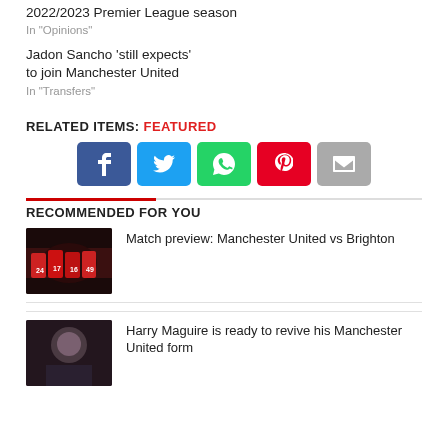2022/2023 Premier League season
In "Opinions"
Jadon Sancho 'still expects' to join Manchester United
In "Transfers"
RELATED ITEMS: FEATURED
[Figure (infographic): Social share buttons: Facebook (blue), Twitter (light blue), WhatsApp (green), Pinterest (red), Email (grey)]
RECOMMENDED FOR YOU
[Figure (photo): Manchester United players in red jerseys grouped together on pitch]
Match preview: Manchester United vs Brighton
[Figure (photo): Harry Maguire close-up portrait]
Harry Maguire is ready to revive his Manchester United form